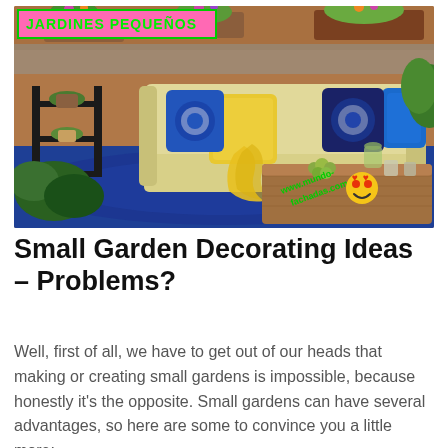[Figure (photo): Outdoor small garden/patio scene with colorful sofa cushions (blue, yellow, patterned), a rustic wooden coffee table with grapes and candles, a black metal shelf unit with plants, a blue patterned rug, and various potted plants. A pink banner with green text 'JARDINES PEQUEÑOS' overlays the top-left. A watermark 'www.mundo-fachadas.com' and a face-with-heart-eyes emoji appear on the image.]
Small Garden Decorating Ideas – Problems?
Well, first of all, we have to get out of our heads that making or creating small gardens is impossible, because honestly it's the opposite. Small gardens can have several advantages, so here are some to convince you a little more: